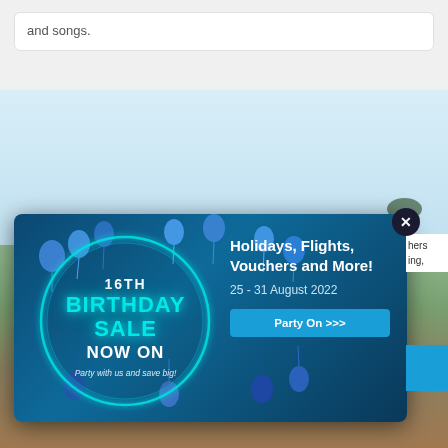and songs.
[Figure (photo): Background photo of a child/person in an outdoor savanna-like environment with light blue sky]
[Figure (infographic): 16TH BIRTHDAY SALE NOW ON popup advertisement. Left side shows a glowing teal circle with balloons and text '16TH BIRTHDAY SALE NOW ON - Party with us and save big!'. Right side shows 'Holidays, Flights, Vouchers and More! 25 - 31 August 2022' with a 'Party On >>>' button. Dark blue background with balloon decorations.]
hers ing,